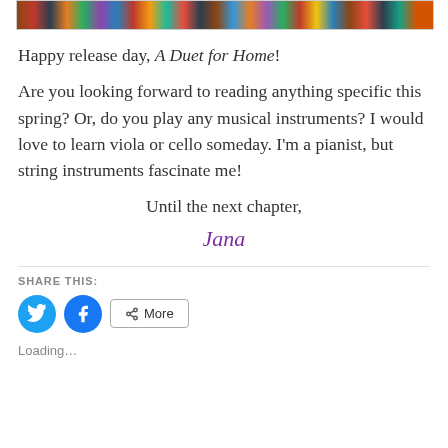[Figure (photo): A strip image showing a row of colorful book spines on a shelf]
Happy release day, A Duet for Home!
Are you looking forward to reading anything specific this spring? Or, do you play any musical instruments? I would love to learn viola or cello someday. I'm a pianist, but string instruments fascinate me!
Until the next chapter,
Jana
SHARE THIS:
[Figure (other): Share buttons: Twitter (blue bird icon), Facebook (blue f icon), and More button]
Loading...